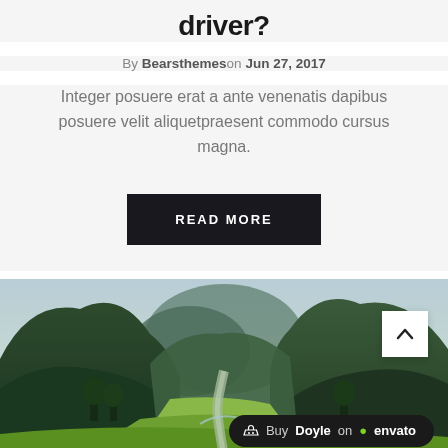driver?
By Bearsthemeson Jun 27, 2017
Integer posuere erat a ante venenatis dapibus posuere velit aliquetpraesent commodo cursus magna.
READ MORE
[Figure (photo): Scenic landscape photo showing green karst mountains with a winding road and rice fields in the foreground, misty sky in the background. Overlaid with a scroll-up arrow button and an Envato promotional bar reading 'Buy Doyle on envato'.]